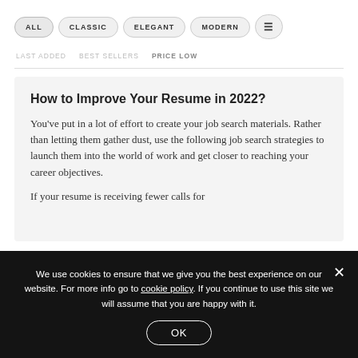ALL  CLASSIC  ELEGANT  MODERN  [menu icon]
LAST ADDED
BEST SELLERS
PRICE LOW
How to Improve Your Resume in 2022?
You've put in a lot of effort to create your job search materials. Rather than letting them gather dust, use the following job search strategies to launch them into the world of work and get closer to reaching your career objectives.
If your resume is receiving fewer calls for
We use cookies to ensure that we give you the best experience on our website. For more info go to cookie policy. If you continue to use this site we will assume that you are happy with it.